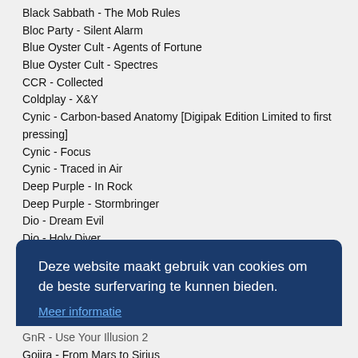Black Sabbath - The Mob Rules
Bloc Party - Silent Alarm
Blue Oyster Cult - Agents of Fortune
Blue Oyster Cult - Spectres
CCR - Collected
Coldplay - X&Y
Cynic - Carbon-based Anatomy [Digipak Edition Limited to first pressing]
Cynic - Focus
Cynic - Traced in Air
Deep Purple - In Rock
Deep Purple - Stormbringer
Dio - Dream Evil
Dio - Holy Diver
Deze website maakt gebruik van cookies om de beste surfervaring te kunnen bieden.
Meer informatie
Begrepen!
GnR - Use Your Illusion 2
Gojira - From Mars to Sirius